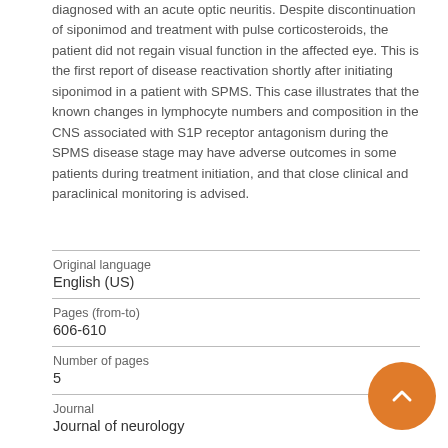diagnosed with an acute optic neuritis. Despite discontinuation of siponimod and treatment with pulse corticosteroids, the patient did not regain visual function in the affected eye. This is the first report of disease reactivation shortly after initiating siponimod in a patient with SPMS. This case illustrates that the known changes in lymphocyte numbers and composition in the CNS associated with S1P receptor antagonism during the SPMS disease stage may have adverse outcomes in some patients during treatment initiation, and that close clinical and paraclinical monitoring is advised.
| Field | Value |
| --- | --- |
| Original language | English (US) |
| Pages (from-to) | 606-610 |
| Number of pages | 5 |
| Journal | Journal of neurology |